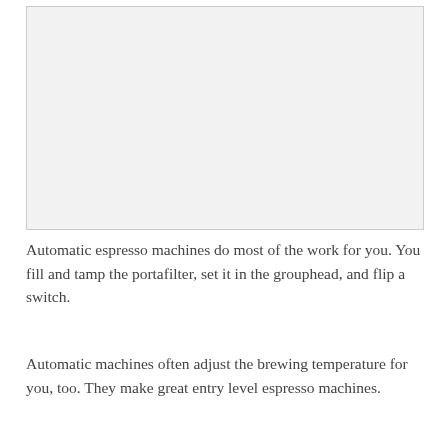[Figure (photo): A light gray rectangular image placeholder representing an espresso machine photo]
Automatic espresso machines do most of the work for you. You fill and tamp the portafilter, set it in the grouphead, and flip a switch.
Automatic machines often adjust the brewing temperature for you, too. They make great entry level espresso machines.